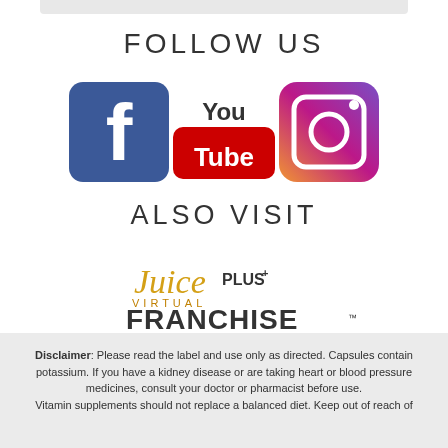FOLLOW US
[Figure (logo): Social media icons: Facebook (blue square with white f), YouTube (white 'You' text above red rectangle with white 'Tube' text), Instagram (gradient purple-orange rounded square with camera icon)]
ALSO VISIT
[Figure (logo): Juice PLUS+ Virtual Franchise logo in gold/orange script and serif lettering]
Disclaimer: Please read the label and use only as directed. Capsules contain potassium. If you have a kidney disease or are taking heart or blood pressure medicines, consult your doctor or pharmacist before use. Vitamin supplements should not replace a balanced diet. Keep out of reach of